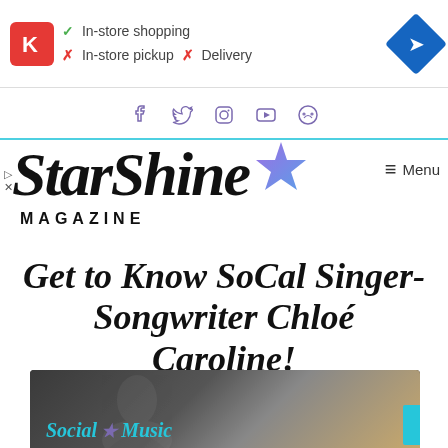[Figure (screenshot): Advertisement banner showing Circle K logo, checkmark for In-store shopping, X marks for In-store pickup and Delivery, and a blue navigation diamond icon]
[Figure (logo): Social media icons row: Facebook, Twitter, Instagram, YouTube, Spotify in purple/violet color]
[Figure (logo): StarShine Magazine logo with star icon in purple/blue gradient]
Get to Know SoCal Singer-Songwriter Chloé Caroline!
[Figure (photo): Photo with Social Music text overlay and teal/cyan colored text, showing a dark background with silhouettes and a person with blonde hair]